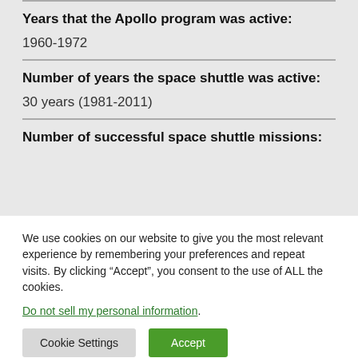Years that the Apollo program was active:
1960-1972
Number of years the space shuttle was active:
30 years (1981-2011)
Number of successful space shuttle missions:
We use cookies on our website to give you the most relevant experience by remembering your preferences and repeat visits. By clicking “Accept”, you consent to the use of ALL the cookies.
Do not sell my personal information.